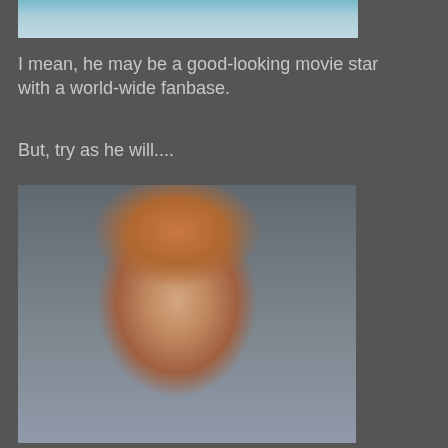[Figure (photo): Top portion of a photo showing water/ocean surface, partially cropped]
I mean, he may be a good-looking movie star with a world-wide fanbase.
But, try as he will....
[Figure (photo): A muscular shirtless man with red curly hair wearing an orange baseball cap, lifting dumbbells in what appears to be a gym or room with framed pictures on the walls]